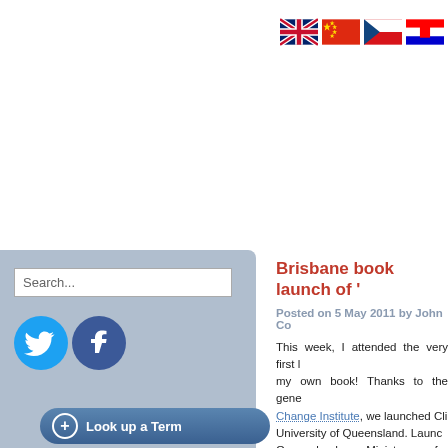[Figure (illustration): Row of country flag icons (UK, China, Czech Republic, Croatia) in top right corner]
[Figure (screenshot): Left sidebar with light blue-grey background containing a search input box, Twitter and Facebook social icons, and a 'Look up a Term' button]
Brisbane book launch of '
Posted on 5 May 2011 by John Co
This week, I attended the very first launch of my own book! Thanks to the generosity of the Change Institute, we launched Cli... at the University of Queensland. Launch... Queensland Minister for Environmen...